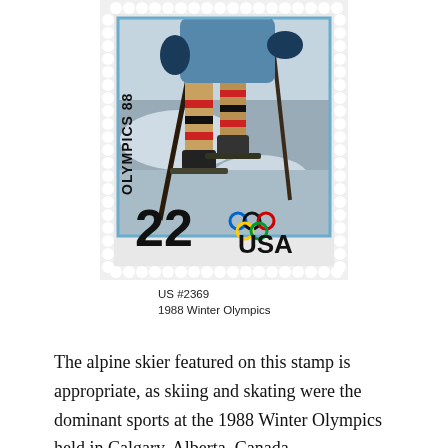[Figure (photo): A US postage stamp, US #2369, 1988 Winter Olympics, 22 cents, showing an alpine skier in action with ski poles and legs visible against a snowy background. The stamp has perforated edges and text reading 'OLYMPICS 88', '22 USA', and the Olympic rings symbol.]
US #2369
1988 Winter Olympics
The alpine skier featured on this stamp is appropriate, as skiing and skating were the dominant sports at the 1988 Winter Olympics held in Calgary, Alberta, Canada.